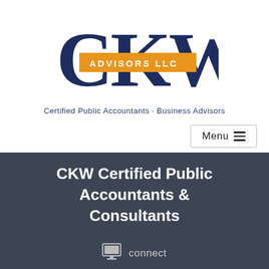[Figure (logo): CKW Advisors LLC logo with large dark navy CKW letters and an orange horizontal banner reading ADVISORS LLC across the middle]
Certified Public Accountants · Business Advisors
Menu
CKW Certified Public Accountants & Consultants
connect